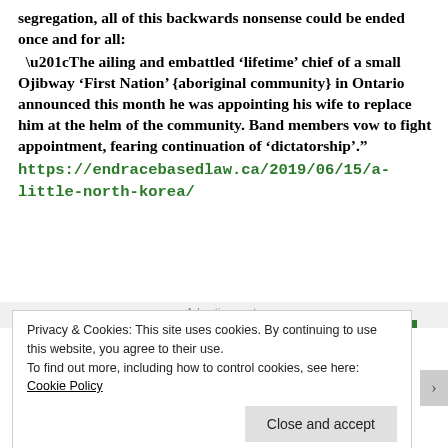segregation, all of this backwards nonsense could be ended once and for all:
“The ailing and embattled ‘lifetime’ chief of a small Ojibway ‘First Nation’ {aboriginal community} in Ontario announced this month he was appointing his wife to replace him at the helm of the community. Band members vow to fight appointment, fearing continuation of ‘dictatorship’.”
https://endracebasedlaw.ca/2019/06/15/a-little-north-korea/
Advertisements
Privacy & Cookies: This site uses cookies. By continuing to use this website, you agree to their use.
To find out more, including how to control cookies, see here: Cookie Policy
Close and accept